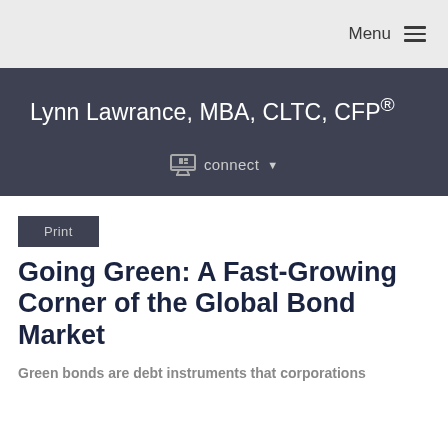Menu
Lynn Lawrance, MBA, CLTC, CFP®
connect
Print
Going Green: A Fast-Growing Corner of the Global Bond Market
Green bonds are debt instruments that corporations